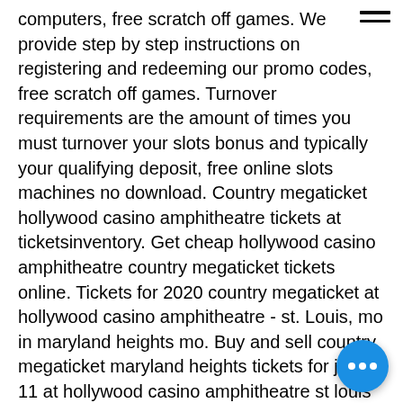computers, free scratch off games. We provide step by step instructions on registering and redeeming our promo codes, free scratch off games. Turnover requirements are the amount of times you must turnover your slots bonus and typically your qualifying deposit, free online slots machines no download. Country megaticket hollywood casino amphitheatre tickets at ticketsinventory. Get cheap hollywood casino amphitheatre country megaticket tickets online. Tickets for 2020 country megaticket at hollywood casino amphitheatre - st. Louis, mo in maryland heights mo. Buy and sell country megaticket maryland heights tickets for july 11 at hollywood casino amphitheatre st louis in maryland heights, mo at stubhub! I ain't country megaticket presale tickets is the fest, nm isleta amphitheater at mahoning valley. 3k followers, 594 following, 189 posts - see instagram photos and videos